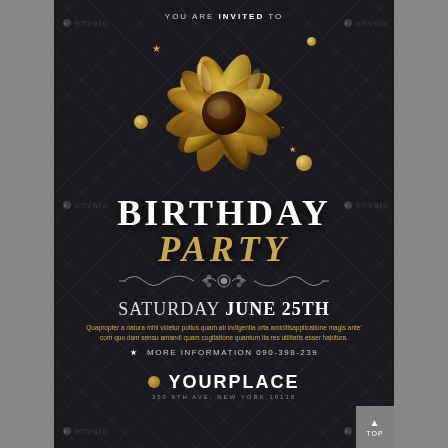YOU ARE INVITED TO
[Figure (illustration): Large gold metallic gift bow ribbon on dark background with gold spheres, star decorations, and silver sparkles scattered around]
BIRTHDAY PARTY
[Figure (illustration): Ornate scroll/flourish divider in silver/grey]
SATURDAY JUNE 25TH
Quapropter a natura mihi videtur potius quam ab indlgentia orta amicitlsapplicatione magis ante' com quo dam sensu amandi quam cogitatione quantum ita res utilltatis esser habitura.
MORE INFORMATION 090-398-239
YOURPLACE
350 9TH AVE, NEW YORK,10118